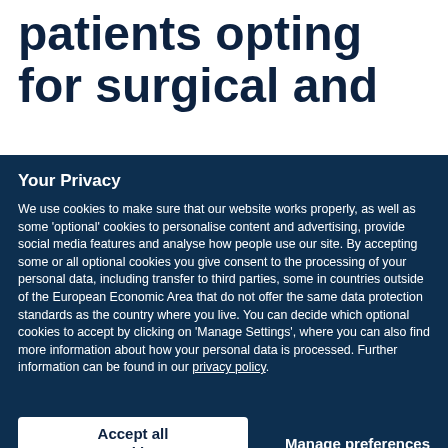patients opting for surgical and
Your Privacy
We use cookies to make sure that our website works properly, as well as some ‘optional’ cookies to personalise content and advertising, provide social media features and analyse how people use our site. By accepting some or all optional cookies you give consent to the processing of your personal data, including transfer to third parties, some in countries outside of the European Economic Area that do not offer the same data protection standards as the country where you live. You can decide which optional cookies to accept by clicking on ‘Manage Settings’, where you can also find more information about how your personal data is processed. Further information can be found in our privacy policy.
Accept all cookies
Manage preferences